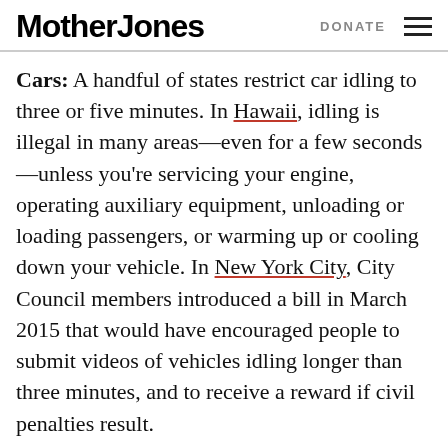Mother Jones | DONATE
Cars: A handful of states restrict car idling to three or five minutes. In Hawaii, idling is illegal in many areas—even for a few seconds—unless you're servicing your engine, operating auxiliary equipment, unloading or loading passengers, or warming up or cooling down your vehicle. In New York City, City Council members introduced a bill in March 2015 that would have encouraged people to submit videos of vehicles idling longer than three minutes, and to receive a reward if civil penalties result.
Ships: When ships idle at ports, their massive diesel engines produce staggering amounts of pollution. In